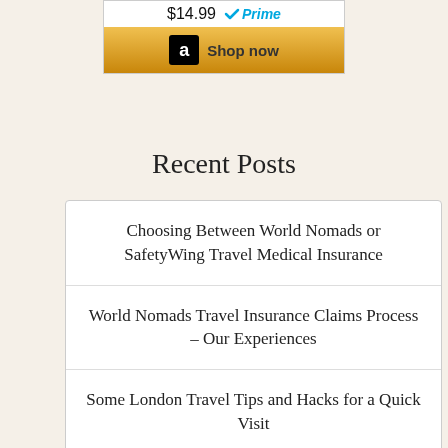[Figure (other): Amazon product listing showing $14.99 price with Prime logo and Shop now button]
Recent Posts
Choosing Between World Nomads or SafetyWing Travel Medical Insurance
World Nomads Travel Insurance Claims Process – Our Experiences
Some London Travel Tips and Hacks for a Quick Visit
SafetyWing Travel Medical Insurance
World Nomads Travel Medical Insurance